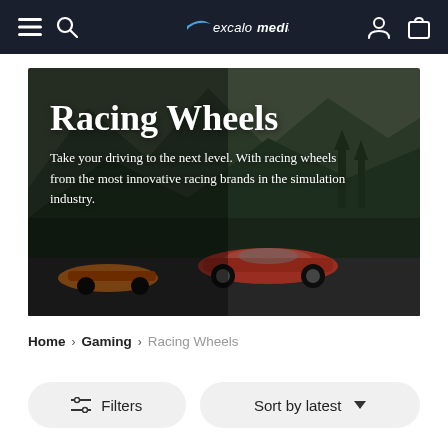excalo media — navigation bar with menu, search, logo, account, and cart icons
[Figure (photo): Hero banner image showing racing cars on a track with mountains in the background. White overlay text reads: 'Racing Wheels' as large title, followed by subtitle text.]
Racing Wheels
Take your driving to the next level. With racing wheels from the most innovative racing brands in the simulation industry.
Home > Gaming > Racing Wheels
Filters  |  Sort by latest